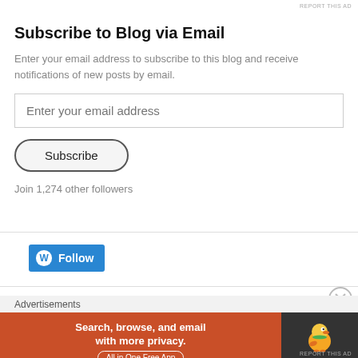REPORT THIS AD
Subscribe to Blog via Email
Enter your email address to subscribe to this blog and receive notifications of new posts by email.
Enter your email address
Subscribe
Join 1,274 other followers
[Figure (other): WordPress Follow button with blue background and white W logo and 'Follow' text]
Advertisements
[Figure (infographic): DuckDuckGo advertisement banner with orange background on left reading 'Search, browse, and email with more privacy. All in One Free App' and dark background on right with DuckDuckGo duck logo]
REPORT THIS AD